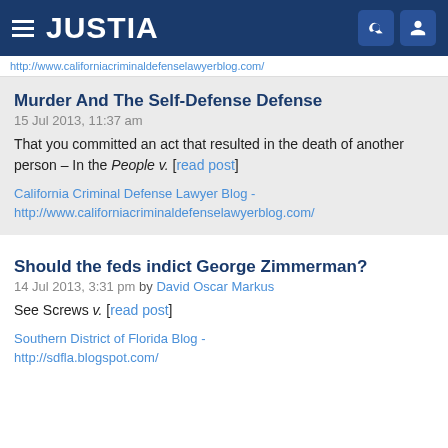JUSTIA
http://www.californiacriminaldefenselawyerblog.com/
Murder And The Self-Defense Defense
15 Jul 2013, 11:37 am
That you committed an act that resulted in the death of another person – In the People v. [read post]
California Criminal Defense Lawyer Blog - http://www.californiacriminaldefenselawyerblog.com/
Should the feds indict George Zimmerman?
14 Jul 2013, 3:31 pm by David Oscar Markus
See Screws v. [read post]
Southern District of Florida Blog - http://sdfla.blogspot.com/